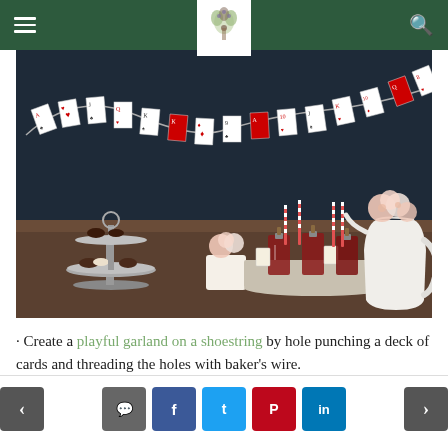Navigation header with logo and search
[Figure (photo): A party dessert table with a playing card garland strung across the top. The garland is made of playing cards hole-punched and threaded on wire. Below the garland is a wooden table with a tiered silver cake stand with pastries, small floral arrangements of pink roses in white mugs and a white pitcher, small bottles of red liquid with tags and red striped straws on a silver tray, against a dark navy/chalkboard background.]
· Create a playful garland on a shoestring by hole punching a deck of cards and threading the holes with baker's wire.
Navigation footer with prev/next arrows and social share buttons: comment, Facebook, Twitter, Pinterest, LinkedIn